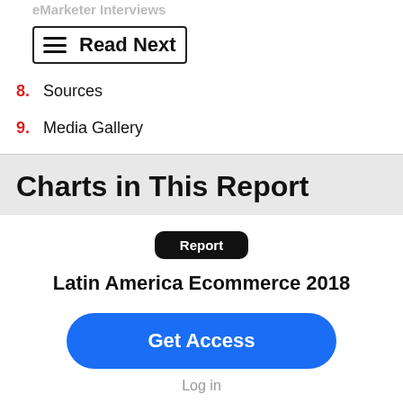eMarketer Interviews
Read Next
8. Sources
9. Media Gallery
Charts in This Report
Report
Latin America Ecommerce 2018
Get Access
Log in